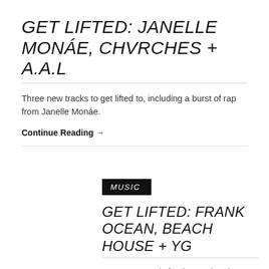GET LIFTED: JANELLE MONÁE, CHVRCHES + A.A.L
Three new tracks to get lifted to, including a burst of rap from Janelle Monáe.
Continue Reading →
MUSIC
GET LIFTED: FRANK OCEAN, BEACH HOUSE + YG
More new music for the weekend, including Frank Ocean's first single of